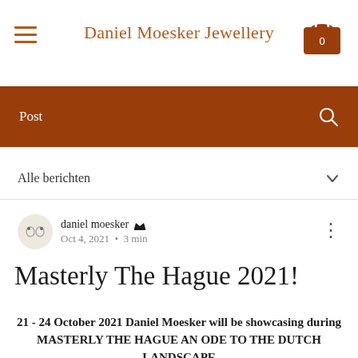Daniel Moesker Jewellery
Post
Alle berichten
daniel moesker
Oct 4, 2021  •  3 min
Masterly The Hague 2021!
21 - 24 October 2021 Daniel Moesker will be showcasing during MASTERLY THE HAGUE AN ODE TO THE DUTCH LANDSCAPE